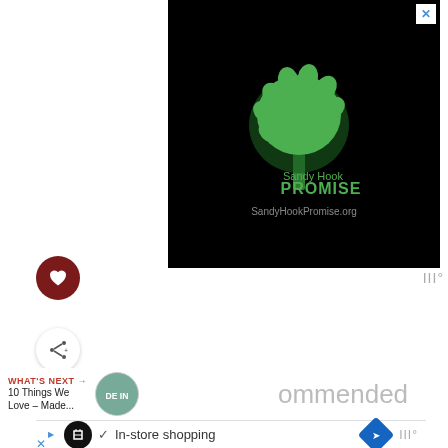[Figure (screenshot): Sandy Hook Promise advertisement on dark/black background with green tree logo made of handprints, text 'Sandy Hook PROMISE' and 'SandyHookPromise.org'. Close button X in top right corner.]
[Figure (logo): Dark red circular heart/like button icon on left side]
[Figure (logo): Share button icon with plus sign on left side]
WHAT'S NEXT → 10 Things We Love – Made... DE IN [thumbnail image]
ommended
[Figure (screenshot): Bottom banner ad: black circular icon, checkmark, 'In-store shopping' text, blue diamond navigation icon, and III° logo on right]